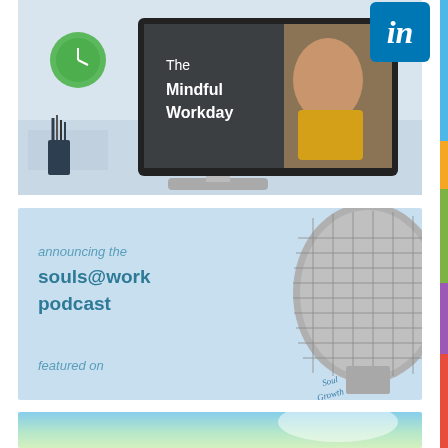[Figure (illustration): A desktop computer monitor showing 'The Mindful Workday' with a woman presenter, set in an office scene with clock and pencil holder. LinkedIn logo badge in top-right corner.]
[Figure (illustration): Light blue banner announcing the souls@work podcast, featuring a large studio microphone with 'Soul Growth Radio' written on it, and text 'announcing the souls@work podcast' and 'featured on'.]
[Figure (photo): Partial bottom image showing a bright outdoor/sky scene, appears to be cropped with large text beginning to appear.]